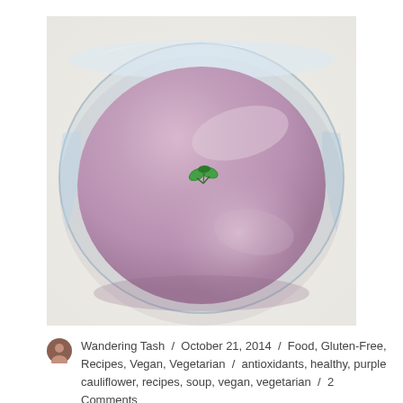[Figure (photo): A glass bowl containing smooth purple/lavender cauliflower soup, garnished with a small green basil leaf in the center, photographed from above on a white surface.]
Wandering Tash / October 21, 2014 / Food, Gluten-Free, Recipes, Vegan, Vegetarian / antioxidants, healthy, purple cauliflower, recipes, soup, vegan, vegetarian / 2 Comments